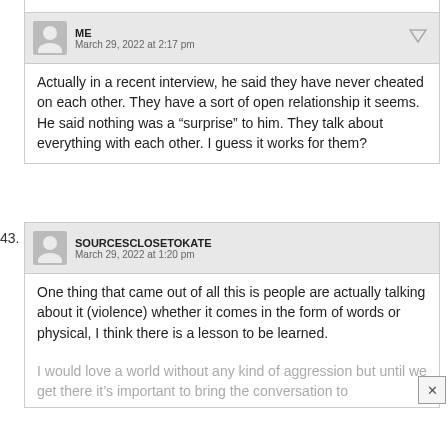ME
March 29, 2022 at 2:17 pm
Actually in a recent interview, he said they have never cheated on each other. They have a sort of open relationship it seems. He said nothing was a “surprise” to him. They talk about everything with each other. I guess it works for them?
43.
SOURCESCLOSETOKATE
March 29, 2022 at 1:20 pm
One thing that came out of all this is people are actually talking about it (violence) whether it comes in the form of words or physical, I think there is a lesson to be learned.
I would love a world without any kind of aggression but until we get there it’s important to bring the conversation to